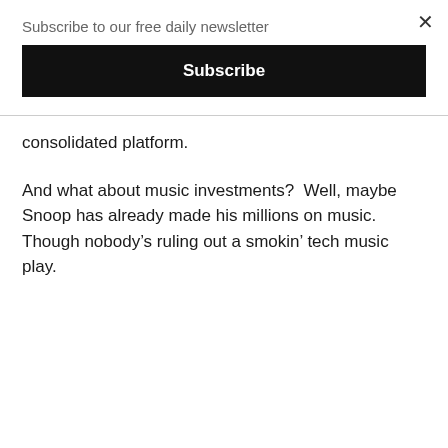Subscribe to our free daily newsletter
Subscribe
consolidated platform.
And what about music investments?  Well, maybe Snoop has already made his millions on music.  Though nobody’s ruling out a smokin’ tech music play.